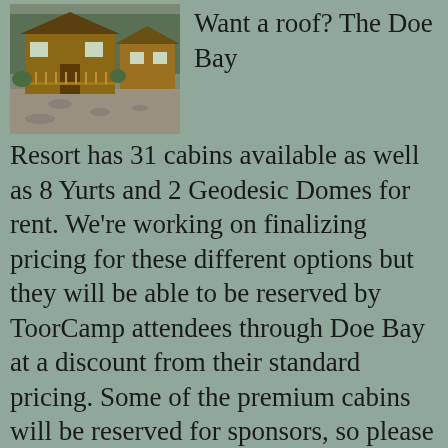[Figure (photo): Exterior photo of wooden cabin with deck/porch and gravel path, other cabins visible in background]
Want a roof? The Doe Bay Resort has 31 cabins available as well as 8 Yurts and 2 Geodesic Domes for rent. We're working on finalizing pricing for these different options but they will be able to be reserved by ToorCamp attendees through Doe Bay at a discount from their standard pricing. Some of the premium cabins will be reserved for sponsors, so please contact us if you're interested in sponsoring.
UPDATE: All cabins are sold-out. We will be opening up registration for RV campers shortly.